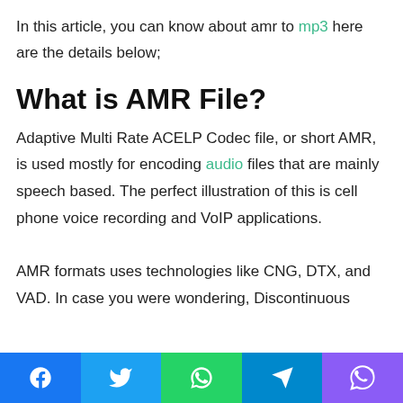In this article, you can know about amr to mp3 here are the details below;
What is AMR File?
Adaptive Multi Rate ACELP Codec file, or short AMR, is used mostly for encoding audio files that are mainly speech based. The perfect illustration of this is cell phone voice recording and VoIP applications.
AMR formats uses technologies like CNG, DTX, and VAD. In case you were wondering, Discontinuous
Facebook | Twitter | WhatsApp | Telegram | Viber